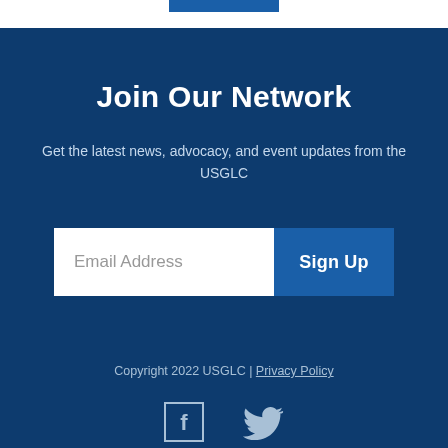Join Our Network
Get the latest news, advocacy, and event updates from the USGLC
Email Address
Sign Up
Copyright 2022 USGLC | Privacy Policy